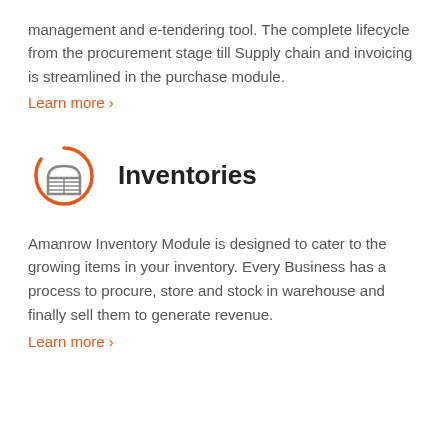management and e-tendering tool. The complete lifecycle from the procurement stage till Supply chain and invoicing is streamlined in the purchase module.
Learn more >
[Figure (illustration): Circular orange arc icon with a warehouse/building graphic in gray inside]
Inventories
Amanrow Inventory Module is designed to cater to the growing items in your inventory. Every Business has a process to procure, store and stock in warehouse and finally sell them to generate revenue.
Learn more >